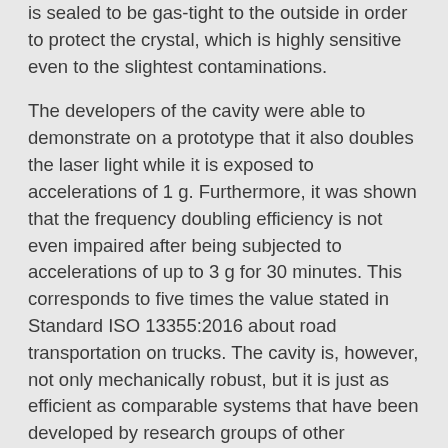is sealed to be gas-tight to the outside in order to protect the crystal, which is highly sensitive even to the slightest contaminations.
The developers of the cavity were able to demonstrate on a prototype that it also doubles the laser light while it is exposed to accelerations of 1 g. Furthermore, it was shown that the frequency doubling efficiency is not even impaired after being subjected to accelerations of up to 3 g for 30 minutes. This corresponds to five times the value stated in Standard ISO 13355:2016 about road transportation on trucks. The cavity is, however, not only mechanically robust, but it is just as efficient as comparable systems that have been developed by research groups of other institutes. Moreover, 130 hours of uninterrupted continuous operation was demonstrated.
In view of these properties, the QUEST Institute has made several of these doubling cavities for different wavelengths (not only for UV) which have become integral components of various quantum-optical experiments, with the aim of providing these experiments reliably with laser light. Moreover, a German optomechanics company has licensed the design in order to use it as a basis for a commercial product. This